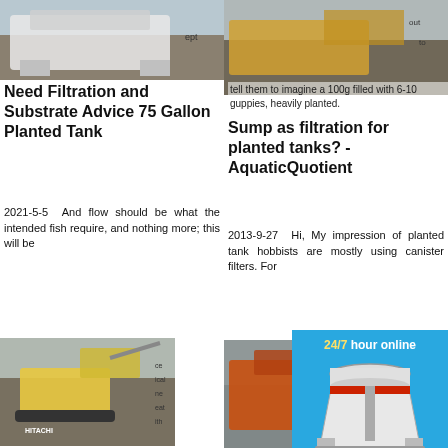[Figure (photo): Construction/mining equipment - top left]
Need Filtration and Substrate Advice 75 Gallon Planted Tank
2021-5-5  And flow should be what the intended fish require, and nothing more; this will be
[Figure (photo): Excavator/mining machinery - middle left]
Aquarium Filtration Systems - External Filters for Fish Tanks
Filtration Circulation. For planted aquariums we recommend a filter turnover of
[Figure (photo): Planted tank/aquarium - bottom left]
[Figure (photo): Mining/quarrying equipment - top right]
Sump as filtration for planted tanks? - AquaticQuotient
2013-9-27  Hi, My impression of planted tank hobbists are mostly using canister filters. For
[Figure (photo): Mining crusher/orange machine - right middle]
Walstad Planted Tank Setup G
2021-8-4  Method is Walstad,
[Figure (infographic): 24/7 hour online advertisement with cone crusher image, Click me to chat>> button, Enquiry section, limingjlmofen username]